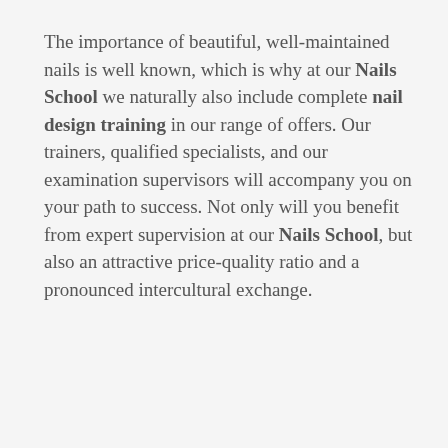The importance of beautiful, well-maintained nails is well known, which is why at our Nails School we naturally also include complete nail design training in our range of offers. Our trainers, qualified specialists, and our examination supervisors will accompany you on your path to success. Not only will you benefit from expert supervision at our Nails School, but also an attractive price-quality ratio and a pronounced intercultural exchange.